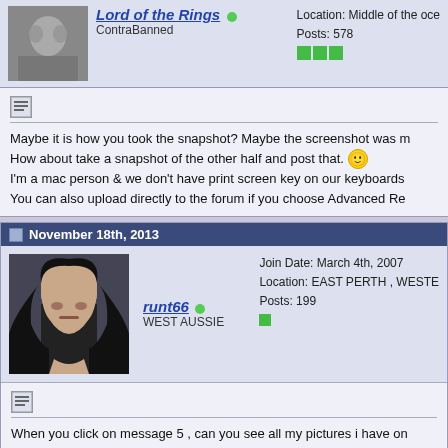Location: Middle of the oce
Posts: 578
Lord of the Rings
ContraBanned
Maybe it is how you took the snapshot? Maybe the screenshot was m
How about take a snapshot of the other half and post that.
I'm a mac person & we don't have print screen key on our keyboards
You can also upload directly to the forum if you choose Advanced Re
November 18th, 2013
Join Date: March 4th, 2007
Location: EAST PERTH , WESTE
Posts: 199
runt66
WEST AUSSIE
When you click on message 5 , can you see all my pictures i have on
???